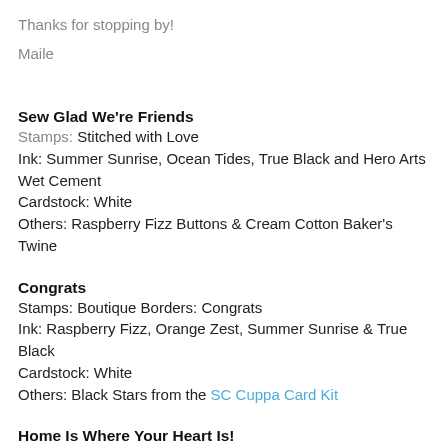Thanks for stopping by!
Maile
Sew Glad We're Friends
Stamps: Stitched with Love
Ink: Summer Sunrise, Ocean Tides, True Black and Hero Arts Wet Cement
Cardstock: White
Others: Raspberry Fizz Buttons & Cream Cotton Baker's Twine
Congrats
Stamps: Boutique Borders: Congrats
Ink: Raspberry Fizz, Orange Zest, Summer Sunrise & True Black
Cardstock: White
Others: Black Stars from the SC Cuppa Card Kit
Home Is Where Your Heart Is!